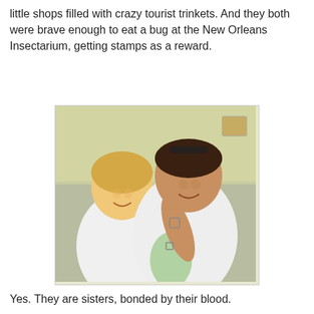little shops filled with crazy tourist trinkets. And they both were brave enough to eat a bug at the New Orleans Insectarium, getting stamps as a reward.
[Figure (photo): Two smiling young women posing together; both wearing white t-shirts. The one on the left has blonde hair and is hugging the other from behind. The one on the right has dark hair with sunglasses on top of her head and is showing stamps/marks on her arm and wrist. Background appears to be a light-colored room wall.]
Yes. They are sisters, bonded by their blood.